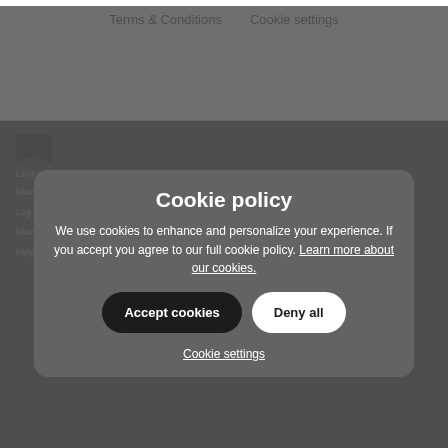Terms & Conditions    Cookie settings
[Figure (screenshot): Cookie policy modal overlay on a website footer. Modal contains title 'Cookie policy', explanatory text about cookies, 'Accept cookies' and 'Deny all' buttons, and a 'Cookie settings' link. Behind the modal is the Klaviyo website footer with logo, links including 'Links & Resources', 'Platforms', 'Klaviyo.com', 'Log in to Klaviyo', 'Klaviyo Blog', 'Help Center', 'Shopify', 'Shopify Plus', 'Klaviyo for BigCommerce', 'Klaviyo for Commerce Cloud'.]